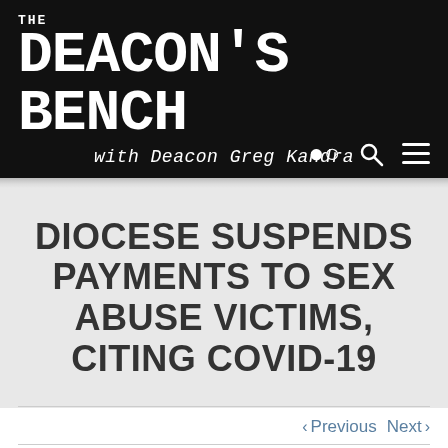THE DEACON'S BENCH with Deacon Greg Kandra
DIOCESE SUSPENDS PAYMENTS TO SEX ABUSE VICTIMS, CITING COVID-19
< Previous   Next >